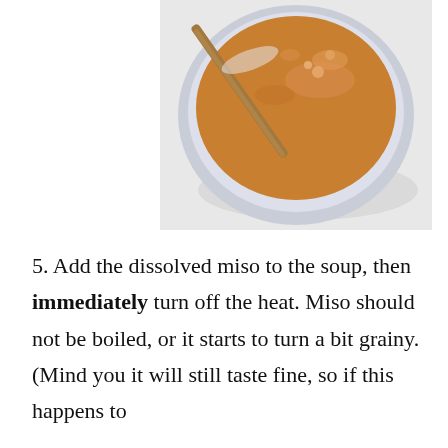[Figure (photo): Overhead view of a white bowl containing dissolved miso paste (orange-brown liquid) with a wooden spoon or chopstick resting in it, placed on a light surface.]
5. Add the dissolved miso to the soup, then immediately turn off the heat. Miso should not be boiled, or it starts to turn a bit grainy. (Mind you it will still taste fine, so if this happens to